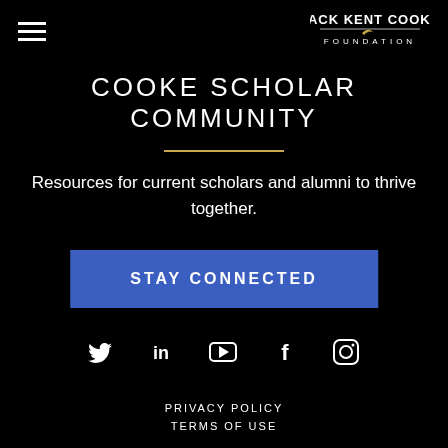[Figure (logo): Jack Kent Cooke Foundation logo with hamburger menu icon on the left and text logo on the right]
COOKE SCHOLAR COMMUNITY
Resources for current scholars and alumni to thrive together.
STAY CONNECTED
[Figure (infographic): Social media icons row: Twitter, LinkedIn, YouTube, Facebook, Instagram]
PRIVACY POLICY
TERMS OF USE